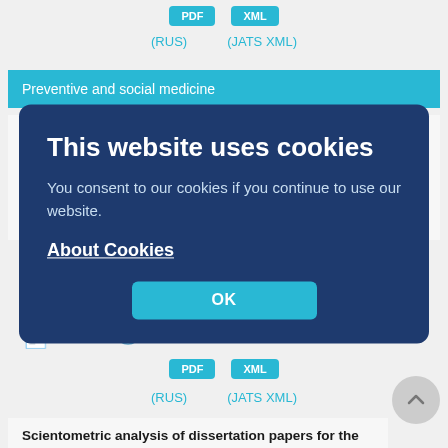PDF  XML
(RUS)   (JATS XML)
Preventive and social medicine
Dynamics of medical aid appealability rate among child population in the republic of Sakha (Yakutia)□
Bosikova V.I., Burtseva T.E., Douglas N.I.
Abstract
Objective. To analyze the incidence rate in child population in Sakha (Yakutia) according to the data of treatment and prevention institutions.
Medical Journal. 2020;37(4):101-108  461
PDF  XML
(RUS)   (JATS XML)
Scientometric analysis of dissertation papers for the specialty "Occupational health" by example of industry branch studies
This website uses cookies
You consent to our cookies if you continue to use our website.
About Cookies
OK